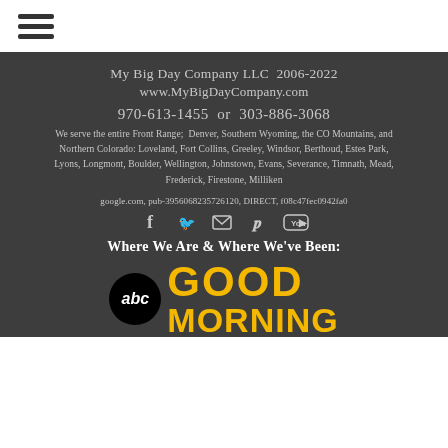[Figure (logo): Hamburger menu icon (three horizontal lines)]
My Big Day Company LLC  2006-2022
www.MyBigDayCompany.com
970-613-1455  or  303-886-3068
We serve the entire Front Range;  Denver, Southern Wyoming, the CO Mountains, and Northern Colorado: Loveland, Fort Collins, Greeley, Windsor, Berthoud, Estes Park, Lyons, Longmont, Boulder, Wellington, Johnstown, Evans, Severance, Timnath, Mead, Frederick, Firestone, Milliken
google.com, pub-3956068235726120, DIRECT, f08c47fec0942fa0
[Figure (infographic): Social media icons: Facebook, Twitter, Email, Pinterest, YouTube]
Where We Are & Where We've Been:
[Figure (logo): ABC Good Morning logo with abc circle and GOOD MORNING text in yellow]